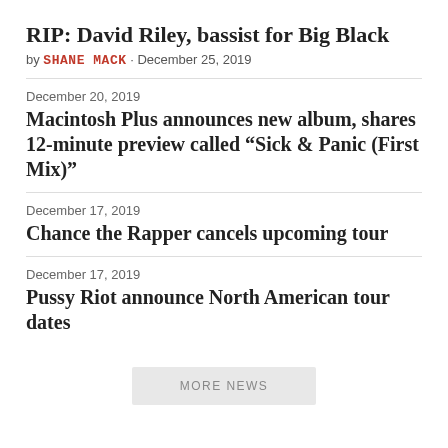RIP: David Riley, bassist for Big Black
by SHANE MACK · December 25, 2019
December 20, 2019
Macintosh Plus announces new album, shares 12-minute preview called “Sick & Panic (First Mix)”
December 17, 2019
Chance the Rapper cancels upcoming tour
December 17, 2019
Pussy Riot announce North American tour dates
MORE NEWS